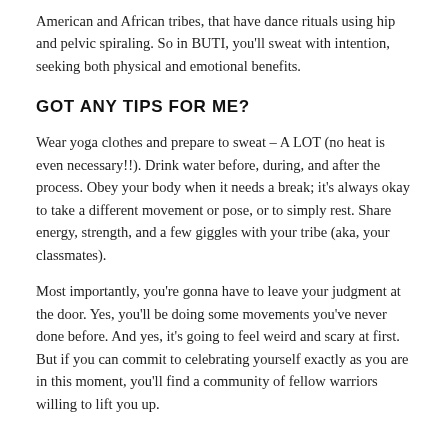American and African tribes, that have dance rituals using hip and pelvic spiraling. So in BUTI, you'll sweat with intention, seeking both physical and emotional benefits.
GOT ANY TIPS FOR ME?
Wear yoga clothes and prepare to sweat – A LOT (no heat is even necessary!!). Drink water before, during, and after the process. Obey your body when it needs a break; it's always okay to take a different movement or pose, or to simply rest. Share energy, strength, and a few giggles with your tribe (aka, your classmates).
Most importantly, you're gonna have to leave your judgment at the door. Yes, you'll be doing some movements you've never done before. And yes, it's going to feel weird and scary at first. But if you can commit to celebrating yourself exactly as you are in this moment, you'll find a community of fellow warriors willing to lift you up.